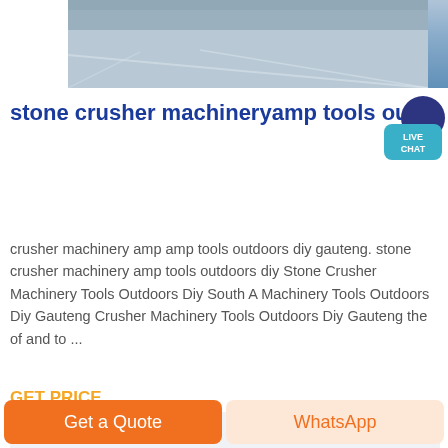[Figure (photo): Industrial floor or factory interior photo showing a reflective grey concrete floor surface]
stone crusher machineryamp tools outd
crusher machinery amp amp tools outdoors diy gauteng. stone crusher machinery amp tools outdoors diy Stone Crusher Machinery Tools Outdoors Diy South A Machinery Tools Outdoors Diy Gauteng Crusher Machinery Tools Outdoors Diy Gauteng the of and to ...
GET PRICE
Ball Mill
Belt C...